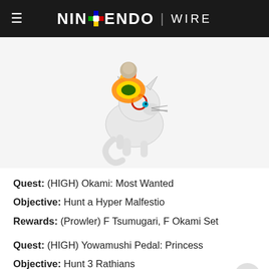NINTENDO WIRE
[Figure (illustration): Animated white wolf/fox character with red facial markings and a glowing fire disc on its back, riding a small creature, from the game Okami/Monster Hunter.]
Quest: (HIGH) Okami: Most Wanted
Objective: Hunt a Hyper Malfestio
Rewards: (Prowler) F Tsumugari, F Okami Set
Quest: (HIGH) Yowamushi Pedal: Princess
Objective: Hunt 3 Rathians